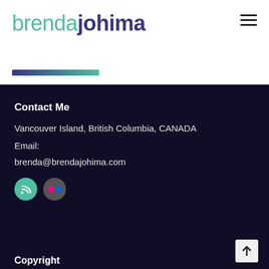brendajohima
[Figure (logo): Gradient accent bar under the logo, transitioning from dark purple to teal]
Contact Me
Vancouver Island, British Columbia, CANADA
Email:
brenda@brendajohima.com
[Figure (infographic): Two social media icon circles: RSS feed (teal) and Flickr (grey with pink and blue dots)]
Copyright